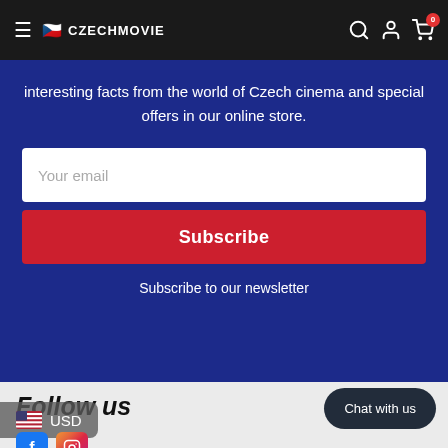CZECHMOVIE
interesting facts from the world of Czech cinema and special offers in our online store.
Your email
Subscribe
Subscribe to our newsletter
Follow us
Chat with us
USD